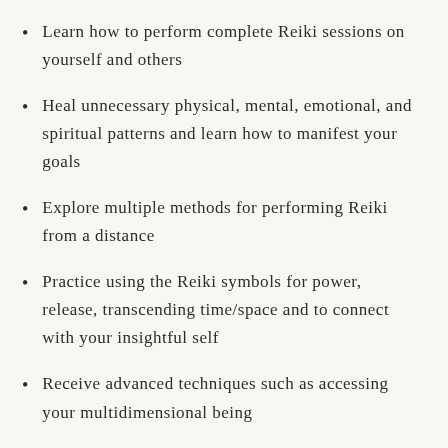Learn how to perform complete Reiki sessions on yourself and others
Heal unnecessary physical, mental, emotional, and spiritual patterns and learn how to manifest your goals
Explore multiple methods for performing Reiki from a distance
Practice using the Reiki symbols for power, release, transcending time/space and to connect with your insightful self
Receive advanced techniques such as accessing your multidimensional being